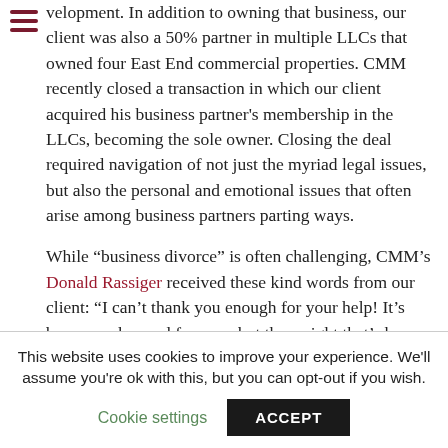velopment. In addition to owning that business, our client was also a 50% partner in multiple LLCs that owned four East End commercial properties. CMM recently closed a transaction in which our client acquired his business partner's membership in the LLCs, becoming the sole owner. Closing the deal required navigation of not just the myriad legal issues, but also the personal and emotional issues that often arise among business partners parting ways.
While “business divorce” is often challenging, CMM’s Donald Rassiger received these kind words from our client: “I can’t thank you enough for your help! It’s been a rocky road for sure, but the weight that’s been
This website uses cookies to improve your experience. We'll assume you're ok with this, but you can opt-out if you wish.
Cookie settings
ACCEPT